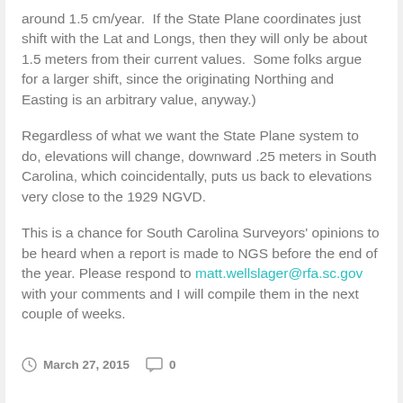around 1.5 cm/year.  If the State Plane coordinates just shift with the Lat and Longs, then they will only be about 1.5 meters from their current values.  Some folks argue for a larger shift, since the originating Northing and Easting is an arbitrary value, anyway.)
Regardless of what we want the State Plane system to do, elevations will change, downward .25 meters in South Carolina, which coincidentally, puts us back to elevations very close to the 1929 NGVD.
This is a chance for South Carolina Surveyors' opinions to be heard when a report is made to NGS before the end of the year. Please respond to matt.wellslager@rfa.sc.gov with your comments and I will compile them in the next couple of weeks.
March 27, 2015   0